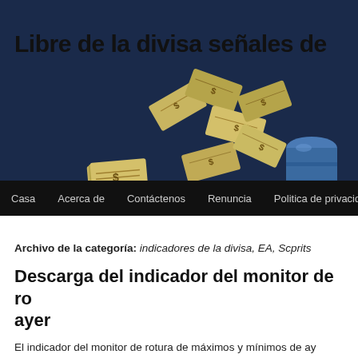Libre de la divisa señales de
[Figure (illustration): Flying US dollar bills scattered in the air, with a blue cylindrical object on the right, on a dark navy blue background]
Casa  Acerca de  Contáctenos  Renuncia  Politica de privacid
Archivo de la categoría: indicadores de la divisa, EA, Scprits
Descarga del indicador del monitor de ro ayer
El indicador del monitor de rotura de máximos y mínimos de ay